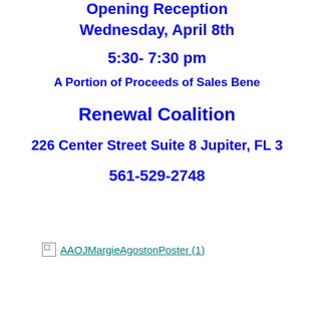Opening Reception
Wednesday, April 8th
5:30- 7:30 pm
A Portion of Proceeds of Sales Bene
Renewal Coalition
226 Center Street Suite 8 Jupiter, FL 3
561-529-2748
[Figure (other): Broken image placeholder with link text: AAOJMargieAgostonPoster (1)]